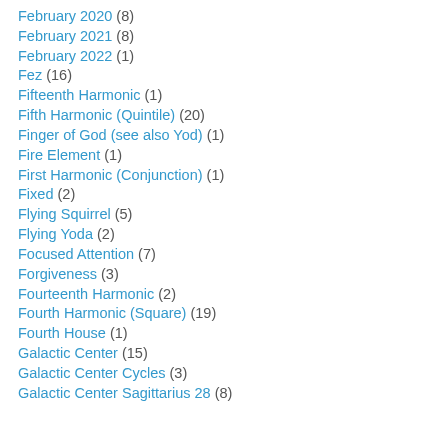February 2020 (8)
February 2021 (8)
February 2022 (1)
Fez (16)
Fifteenth Harmonic (1)
Fifth Harmonic (Quintile) (20)
Finger of God (see also Yod) (1)
Fire Element (1)
First Harmonic (Conjunction) (1)
Fixed (2)
Flying Squirrel (5)
Flying Yoda (2)
Focused Attention (7)
Forgiveness (3)
Fourteenth Harmonic (2)
Fourth Harmonic (Square) (19)
Fourth House (1)
Galactic Center (15)
Galactic Center Cycles (3)
Galactic Center Sagittarius 28 (8)